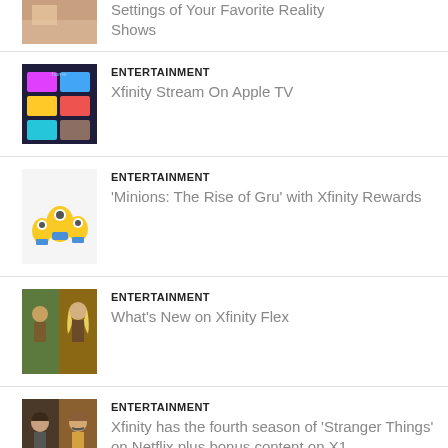Settings of Your Favorite Reality Shows
ENTERTAINMENT
Xfinity Stream On Apple TV
ENTERTAINMENT
'Minions: The Rise of Gru' with Xfinity Rewards
ENTERTAINMENT
What's New on Xfinity Flex
ENTERTAINMENT
Xfinity has the fourth season of 'Stranger Things' on Netflix plus bonus content on X1